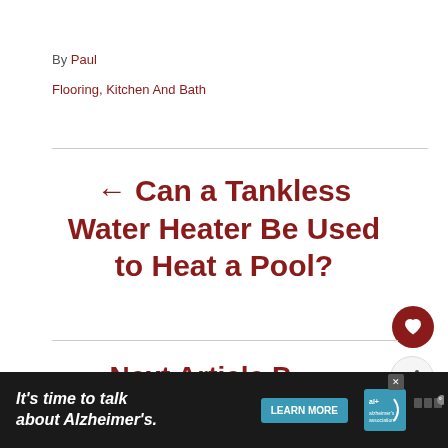By Paul
Flooring, Kitchen And Bath
← Can a Tankless Water Heater Be Used to Heat a Pool?
[Figure (other): Heart (favorite) button — red circle with white heart icon]
[Figure (other): Share button — light circle with share icon and plus sign]
Next article title (partially visible, cut off)
[Figure (other): Advertisement banner: Alzheimer's Association ad — 'It's time to talk about Alzheimer's.' with Learn More button and Alzheimer's Association logo]